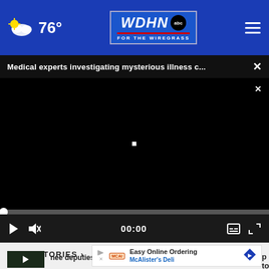76° WDHN abc FOR THE WIREGRASS
Medical experts investigating mysterious illness c...  ×
[Figure (screenshot): Black video player area with a small white square in the center and a close button top-right]
00:00
MORE STORIES >
[Figure (screenshot): Advertisement banner for McAlister's Deli - Easy Online Ordering]
nee deputies